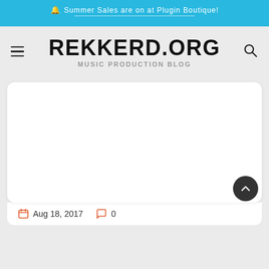🔔 Summer Sales are on at Plugin Boutique!
REKKERD.ORG
MUSIC PRODUCTION BLOG
[Figure (screenshot): White card area with blank content placeholder]
Aug 18, 2017  0